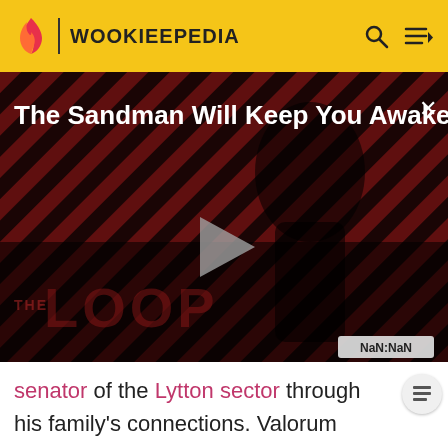WOOKIEEPEDIA
[Figure (screenshot): Video player thumbnail showing 'The Sandman Will Keep You Awake...' title with a dark figure in black against diagonal red and black striped background. The Loop logo is visible at the bottom. A play button is centered. NaN:NaN timestamp shown at bottom right.]
senator of the Lytton sector through his family's connections. Valorum advocated against the development of a centralized Republic army, and came into prominence during the Stark Hyperspace War in 44 BBY. The conflict was a result of attacks on bacta